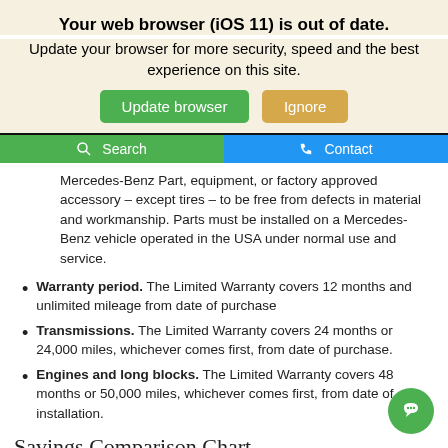Your web browser (iOS 11) is out of date.
Update your browser for more security, speed and the best experience on this site.
Update browser | Ignore
Search | Contact
Mercedes-Benz Part, equipment, or factory approved accessory – except tires – to be free from defects in material and workmanship. Parts must be installed on a Mercedes-Benz vehicle operated in the USA under normal use and service.
Warranty period. The Limited Warranty covers 12 months and unlimited mileage from date of purchase
Transmissions. The Limited Warranty covers 24 months or 24,000 miles, whichever comes first, from date of purchase.
Engines and long blocks. The Limited Warranty covers 48 months or 50,000 miles, whichever comes first, from date of installation.
Savings Comparison Chart –